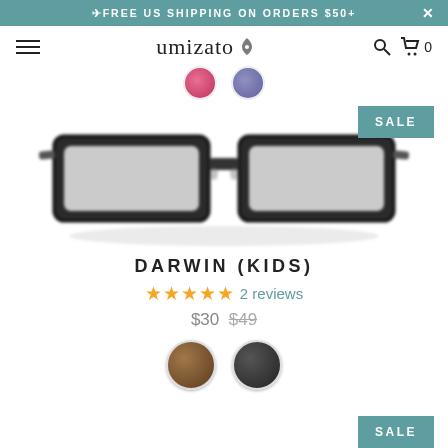✈FREE US SHIPPING ON ORDERS $50+
[Figure (logo): Umizato logo with hamburger menu, search icon, and cart icon showing 0 items]
[Figure (photo): Dark rectangular eyeglasses frame for kids, blurred product photo with SALE badge in teal]
DARWIN (KIDS)
★★★★★ 2 reviews
$30 $49
[Figure (illustration): Two circular color swatches: brown/demi tortoise and dark grey/black]
[Figure (other): SALE badge bottom right corner]